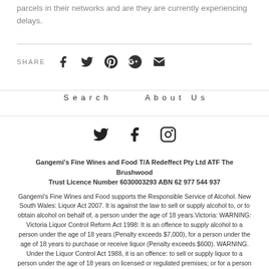parcels in their networks and are they are currently experiencing delays.
SHARE
Search   About Us
Gangemi's Fine Wines and Food T/A Redeffect Pty Ltd ATF The Brushwood Trust Licence Number 6030003293 ABN 62 977 544 937
Gangemi's Fine Wines and Food supports the Responsible Service of Alcohol. New South Wales: Liquor Act 2007. It is against the law to sell or supply alcohol to, or to obtain alcohol on behalf of, a person under the age of 18 years.Victoria: WARNING: Victoria Liquor Control Reform Act 1998: It is an offence to supply alcohol to a person under the age of 18 years (Penalty exceeds $7,000), for a person under the age of 18 years to purchase or receive liquor (Penalty exceeds $600). WARNING. Under the Liquor Control Act 1988, it is an offence: to sell or supply liquor to a person under the age of 18 years on licensed or regulated premises; or for a person under the age of 18 years to purchase, or attempt to purchase, liquor on licensed or regulated premises.South Australia: Liquor Licensing Act 1997, Section 113. Liquor must